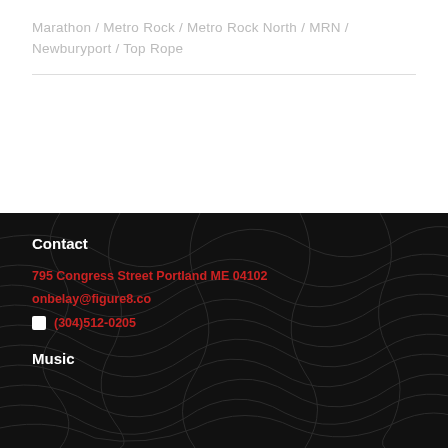Marathon / Metro Rock / Metro Rock North / MRN / Newburyport / Top Rope
Contact
795 Congress Street Portland ME 04102
onbelay@figure8.co
(304)512-0205
Music